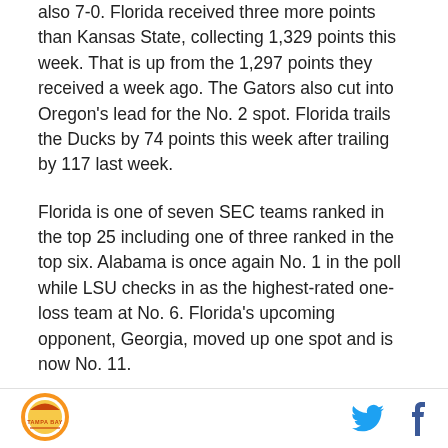also 7-0. Florida received three more points than Kansas State, collecting 1,329 points this week. That is up from the 1,297 points they received a week ago. The Gators also cut into Oregon's lead for the No. 2 spot. Florida trails the Ducks by 74 points this week after trailing by 117 last week.
Florida is one of seven SEC teams ranked in the top 25 including one of three ranked in the top six. Alabama is once again No. 1 in the poll while LSU checks in as the highest-rated one-loss team at No. 6. Florida's upcoming opponent, Georgia, moved up one spot and is now No. 11.
The Florida State Seminoles are also in the top 10 as
[Figure (logo): Tampa Bay logo - circular orange and yellow logo with text TAMPA BAY]